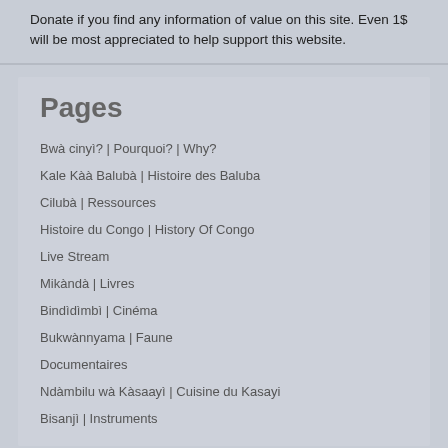Donate if you find any information of value on this site. Even 1$ will be most appreciated to help support this website.
Pages
Bwà cinyì? | Pourquoi? | Why?
Kale Kàà Balubà | Histoire des Baluba
Cilubà | Ressources
Histoire du Congo | History Of Congo
Live Stream
Mikàndà | Livres
Bindìdìmbì | Cinéma
Bukwànnyama | Faune
Documentaires
Ndàmbilu wà Kàsaayì | Cuisine du Kasayi
Bisanjì | Instruments